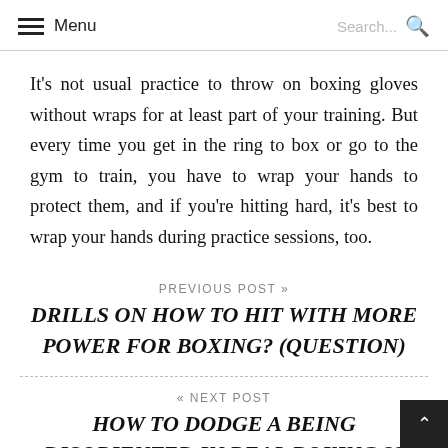Menu | Search...
It's not usual practice to throw on boxing gloves without wraps for at least part of your training. But every time you get in the ring to box or go to the gym to train, you have to wrap your hands to protect them, and if you're hitting hard, it's best to wrap your hands during practice sessions, too.
PREVIOUS POST »
DRILLS ON HOW TO HIT WITH MORE POWER FOR BOXING? (QUESTION)
« NEXT POST
HOW TO DODGE A BEING DISORIENTED IN REAL BOXING 2? (BEST SOLUTION)